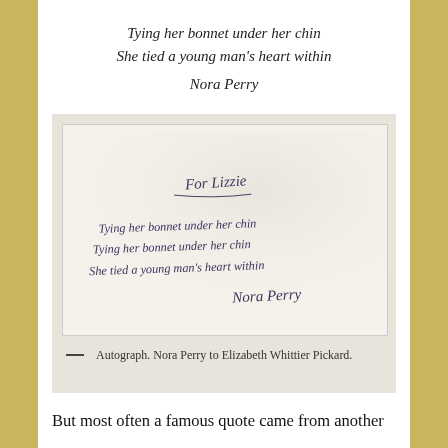Tying her bonnet under her chin
She tied a young man's heart within
Nora Perry
[Figure (photo): Photograph of a handwritten autograph note reading 'For Lizzie / Tying her bonnet under her chin / Tying her bonnet under her chin / She tied a young man's heart within / Nora Perry']
— Autograph. Nora Perry to Elizabeth Whittier Pickard.
But most often a famous quote came from another